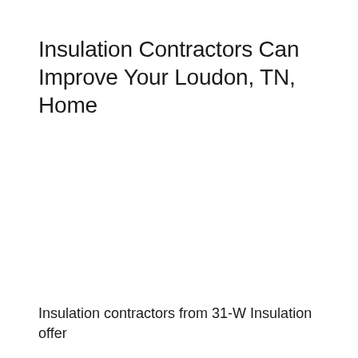Insulation Contractors Can Improve Your Loudon, TN, Home
Insulation contractors from 31-W Insulation offer